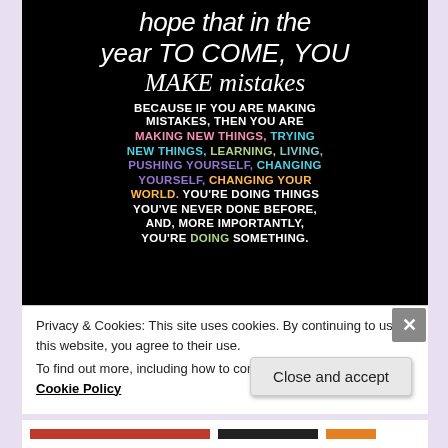[Figure (illustration): Dark/black background motivational quote image with white handwritten-style and colorful uppercase text. Text reads: '...hope that in the year to come, you make mistakes because if you are making mistakes, then you are making new things, trying new things, learning, living, pushing yourself, changing yourself, changing your world. You're doing things you've never done before, and, more importantly, you're doing something.' Words are rendered in multiple colors: pink, teal/cyan, yellow-green, purple, orange, white.]
Privacy & Cookies: This site uses cookies. By continuing to use this website, you agree to their use.
To find out more, including how to control cookies, see here: Cookie Policy
Close and accept